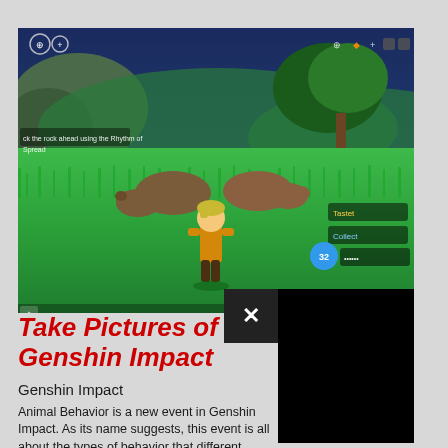[Figure (screenshot): Genshin Impact gameplay screenshot showing a character in yellow outfit standing in a grassy field with two bear-like animals resting on the ground. Trees and hills in the background. Game HUD visible with compass, icons at top.]
Take Pictures of S... Genshin Impact
Genshin Impact
Animal Behavior is a new event in Genshin Impact. As its name suggests, this event is all about the types of behavior that different animals…